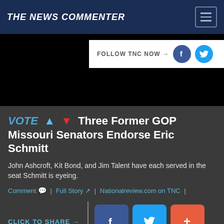THE NEWS COMMENTER
FOLLOW TNC NOW →
VOTE ↑ ↓ Three Former GOP Missouri Senators Endorse Eric Schmitt
John Ashcroft, Kit Bond, and Jim Talent have each served in the seat Schmitt is eyeing.
Comment | Full Story | Nationalreview.com on TNC |
CLICK TO SHARE →